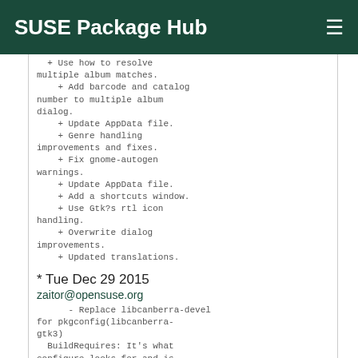SUSE Package Hub
+ Use how to resolve multiple album matches.
  + Add barcode and catalog number to multiple album dialog.
  + Update AppData file.
  + Genre handling improvements and fixes.
  + Fix gnome-autogen warnings.
  + Update AppData file.
  + Add a shortcuts window.
  + Use Gtk?s rtl icon handling.
  + Overwrite dialog improvements.
  + Updated translations.
* Tue Dec 29 2015
zaitor@opensuse.org
- Replace libcanberra-devel for pkgconfig(libcanberra-gtk3)
  BuildRequires: It's what configure looks for and is needed now
  that libcanberra-devel was split.
* Mon Nov 16 2015
zaitor@opensuse.org
- Update to version 3.18.1:
  + Avoid NULL string